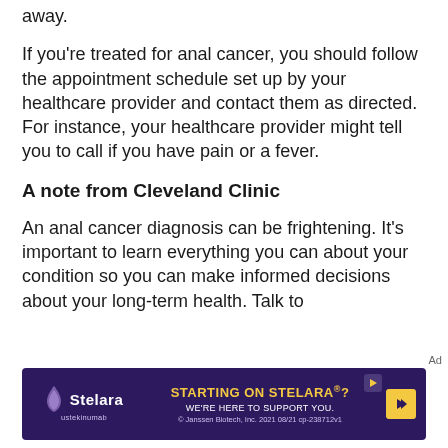away.
If you're treated for anal cancer, you should follow the appointment schedule set up by your healthcare provider and contact them as directed. For instance, your healthcare provider might tell you to call if you have pain or a fever.
A note from Cleveland Clinic
An anal cancer diagnosis can be frightening. It's important to learn everything you can about your condition so you can make informed decisions about your long-term health. Talk to
[Figure (other): Advertisement banner for Stelara (ustekinumab) by Janssen Biotech. Dark purple background. Text reads: STARTING ON STELARA®? WE'RE HERE TO SUPPORT YOU. © Janssen Biotech, Inc. 2021 08/21 cp-238712v1]